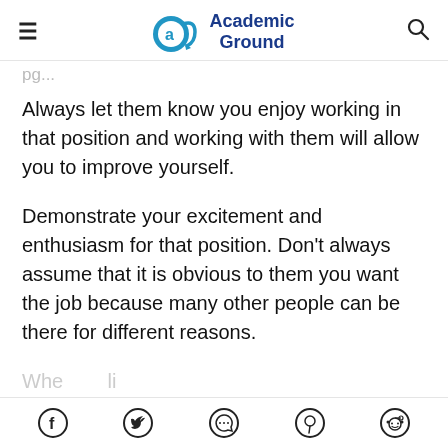Academic Ground
Always let them know you enjoy working in that position and working with them will allow you to improve yourself.
Demonstrate your excitement and enthusiasm for that position. Don't always assume that it is obvious to them you want the job because many other people can be there for different reasons.
Social share icons: Facebook, Twitter, WhatsApp, Pinterest, Reddit